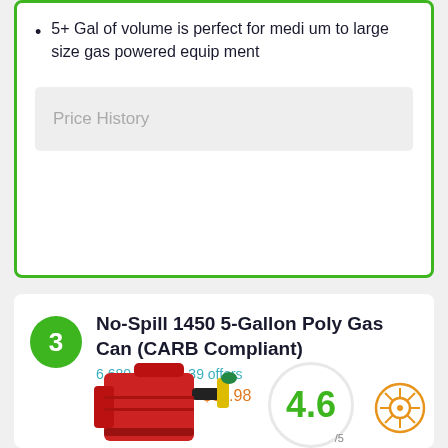5+ Gal of volume is perfect for medium to large size gas powered equipment
Price History
No-Spill 1450 5-Gallon Poly Gas Can (CARB Compliant)
6,680 ratings | 39 offers
Price: $32.99 – $67.98
[Figure (photo): Red gas can with yellow nozzle, product photo]
4.6/5 rating